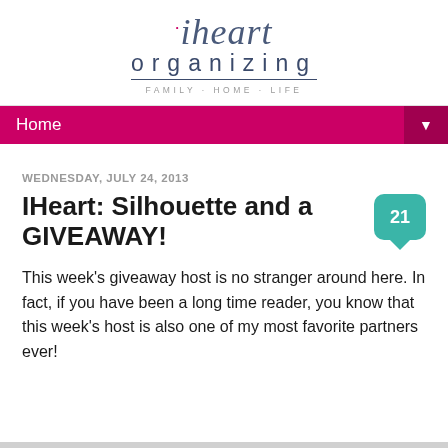[Figure (logo): iHeart Organizing blog logo with cursive 'iheart' script in blue-gray, 'organizing' in spaced sans-serif below, and 'FAMILY · HOME · LIFE' tagline]
Home ▼
WEDNESDAY, JULY 24, 2013
IHeart: Silhouette and a GIVEAWAY!
This week's giveaway host is no stranger around here.  In fact, if you have been a long time reader, you know that this week's host is also one of my most favorite partners ever!